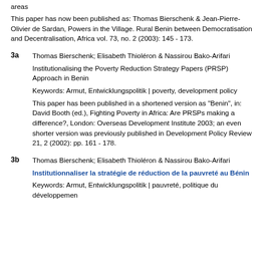areas
This paper has now been published as: Thomas Bierschenk & Jean-Pierre-Olivier de Sardan, Powers in the Village. Rural Benin between Democratisation and Decentralisation, Africa vol. 73, no. 2 (2003): 145 - 173.
3a  Thomas Bierschenk; Elisabeth Thioléron & Nassirou Bako-Arifari
Institutionalising the Poverty Reduction Strategy Papers (PRSP) Approach in Benin
Keywords: Armut, Entwicklungspolitik | poverty, development policy
This paper has been published in a shortened version as "Benin", in: David Booth (ed.), Fighting Poverty in Africa: Are PRSPs making a difference?, London: Overseas Development Institute 2003; an even shorter version was previously published in Development Policy Review 21, 2 (2002): pp. 161 - 178.
3b  Thomas Bierschenk; Elisabeth Thioléron & Nassirou Bako-Arifari
Institionnaliser la stratégie de réduction de la pauvreté au Bénin
Keywords: Armut, Entwicklungspolitik | pauvreté, politique du développemen